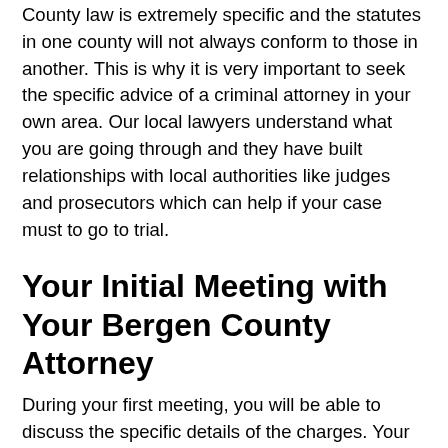County law is extremely specific and the statutes in one county will not always conform to those in another. This is why it is very important to seek the specific advice of a criminal attorney in your own area. Our local lawyers understand what you are going through and they have built relationships with local authorities like judges and prosecutors which can help if your case must to go to trial.
Your Initial Meeting with Your Bergen County Attorney
During your first meeting, you will be able to discuss the specific details of the charges. Your lawyer will be able to offer recommendations and you will talk about different available options like court cases and plea bargains.
It is very important that you are totally honest about your side of the story as this will help your attorney figure out the proper steps to take. The more you are able to share, the better your chances are at making an informed decision about your case